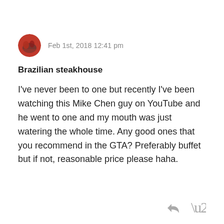Feb 1st, 2018 12:41 pm
Brazilian steakhouse
I've never been to one but recently I've been watching this Mike Chen guy on YouTube and he went to one and my mouth was just watering the whole time. Any good ones that you recommend in the GTA? Preferably buffet but if not, reasonable price please haha.